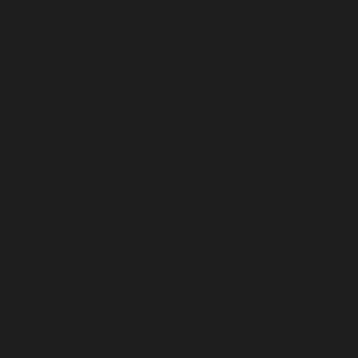I was able to take the time fro...
Whilst I appreciate that the co... performance hit.
Is there any way that the abo... from 1ms to something greate... iframes in it? Some other crea...
Cheers,
Change History (2)
Changed 11 years ago by a...
Thanks for submitting a ticket ...
Do you have any test cases on... from jsPerf.com (or otherwise)... evaluating the performance iss... moment (or perf improvements... be suggested or made, it's ess... reproduce the issues describe...